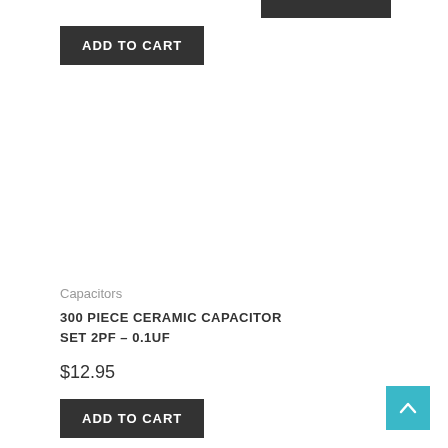[Figure (screenshot): Dark gray header bar strip at top right of page]
ADD TO CART
Capacitors
300 PIECE CERAMIC CAPACITOR SET 2PF – 0.1UF
$12.95
ADD TO CART
[Figure (illustration): Teal/cyan scroll-to-top button with upward chevron arrow]